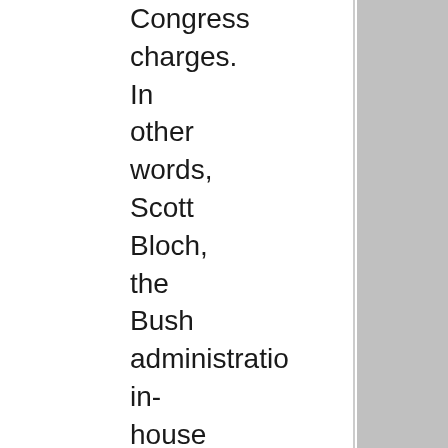Congress charges. In other words, Scott Bloch, the Bush administration in-house Hatch Act enforcer in the U.S. attorneys scandal, could wind up facing